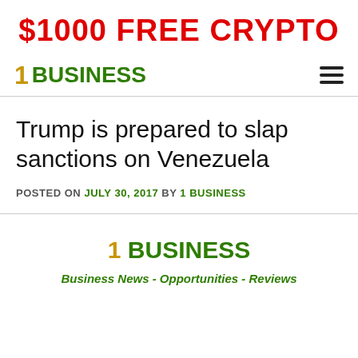$1000 FREE CRYPTO
1 BUSINESS
Trump is prepared to slap sanctions on Venezuela
POSTED ON JULY 30, 2017 BY 1 BUSINESS
1 BUSINESS
Business News - Opportunities - Reviews